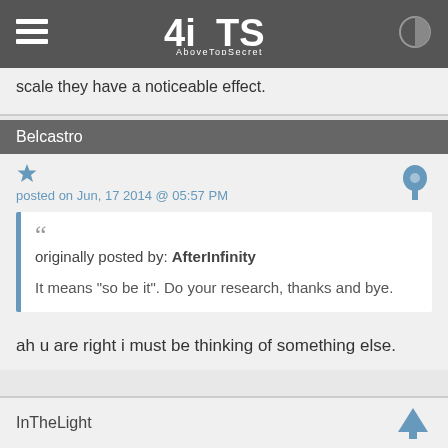4iTS AboveTopSecret
scale they have a noticeable effect.
Belcastro
posted on Jun, 17 2014 @ 05:57 PM
originally posted by: AfterInfinity

It means "so be it". Do your research, thanks and bye.
ah u are right i must be thinking of something else.
InTheLight